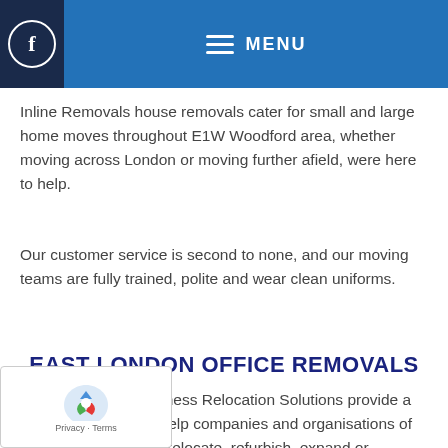f  MENU
Inline Removals house removals cater for small and large home moves throughout E1W Woodford area, whether moving across London or moving further afield, were here to help.
Our customer service is second to none, and our moving teams are fully trained, polite and wear clean uniforms.
EAST LONDON OFFICE REMOVALS
Inline Removals Business Relocation Solutions provide a range of services to help companies and organisations of all sizes in Woodford relocate, refurbish, expand or downsize.
have been relocating businesses throughout East don for over 25 years. we have the expertise and